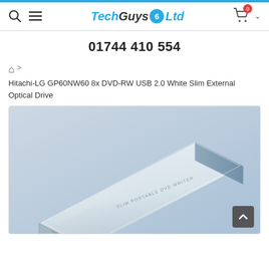Tech Guys 6 Ltd — Navigation header with search, menu, logo, cart (0)
01744 410 554
🏠 > Hitachi-LG GP60NW60 8x DVD-RW USB 2.0 White Slim External Optical Drive
[Figure (photo): White slim portable DVD writer (Hitachi-LG GP60NW60) on a light blue-grey background, angled top-down view showing the top face of the drive with 'SLIM PORTABLE DVD WRITER' text on the surface.]